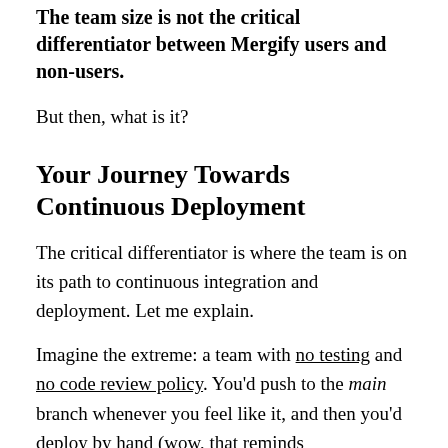The team size is not the critical differentiator between Mergify users and non-users.
But then, what is it?
Your Journey Towards Continuous Deployment
The critical differentiator is where the team is on its path to continuous integration and deployment. Let me explain.
Imagine the extreme: a team with no testing and no code review policy. You'd push to the main branch whenever you feel like it, and then you'd deploy by hand (wow, that reminds me of the first company I worked at...). The